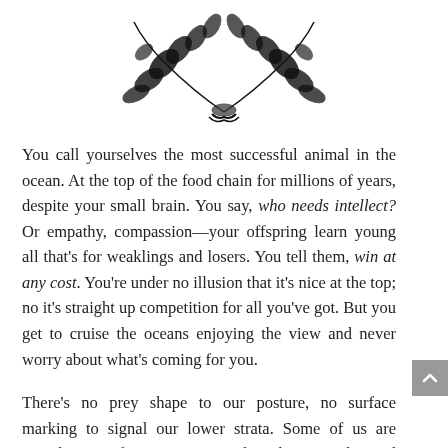[Figure (illustration): Black and white illustration of a laurel wreath or decorative crown made of leaves and branches, shown partially at the top of the page.]
You call yourselves the most successful animal in the ocean. At the top of the food chain for millions of years, despite your small brain. You say, who needs intellect? Or empathy, compassion—your offspring learn young all that's for weaklings and losers. You tell them, win at any cost. You're under no illusion that it's nice at the top; no it's straight up competition for all you've got. But you get to cruise the oceans enjoying the view and never worry about what's coming for you.
There's no prey shape to our posture, no surface marking to signal our lower strata. Some of us are stupid, some of us are smart. We have beauty, color, and art. Some of our bodies are wildly bizarre, others are shaped much like yours, rounded and tapered at the ends to reduce drag in the water. But underneath